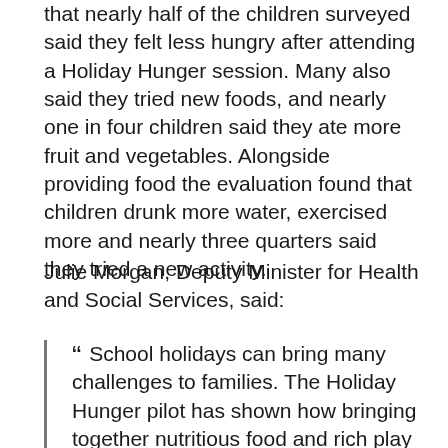that nearly half of the children surveyed said they felt less hungry after attending a Holiday Hunger session. Many also said they tried new foods, and nearly one in four children said they ate more fruit and vegetables. Alongside providing food the evaluation found that children drunk more water, exercised more and nearly three quarters said they tried a new activity.
Julie Morgan, Deputy Minister for Health and Social Services, said:
“ School holidays can bring many challenges to families. The Holiday Hunger pilot has shown how bringing together nutritious food and rich play opportunities can have a positive effect on children. The pilot has proven to be a successful and I’m delighted that we have been able to increase the